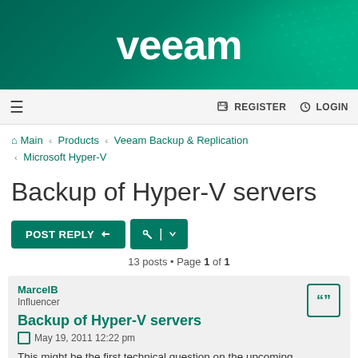[Figure (logo): Veeam logo on dark green banner with abstract green wave pattern]
≡  REGISTER  LOGIN
Main › Products › Veeam Backup & Replication › Microsoft Hyper-V
Backup of Hyper-V servers
POST REPLY   🔧 | ▼
13 posts • Page 1 of 1
MarcelB
Influencer
Backup of Hyper-V servers
May 19, 2011 12:22 pm
This might be the first technical question on the upcoming